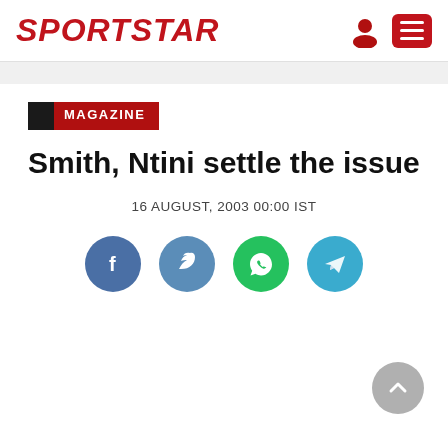SPORTSTAR
MAGAZINE
Smith, Ntini settle the issue
16 AUGUST, 2003 00:00 IST
[Figure (other): Social sharing buttons: Facebook, Twitter, WhatsApp, Telegram]